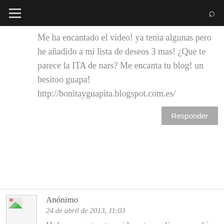≡  🔍
Me ha encantado el video! ya tenia algunas pero he añadido a mi lista de deseos 3 mas! ¿Que te parece la ITA de nars? Me encanta tu blog! un besitoo guapa! http://bonitayguapita.blogspot.com.es/
Responder
Anónimo
24 de abril de 2013, 11:03
Hola,me gustan tus videos te explicas muy bien me gustaria